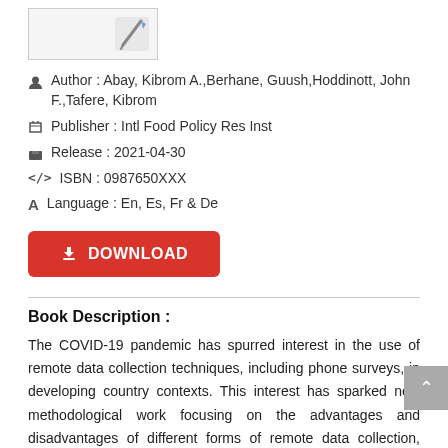[Figure (illustration): Book cover thumbnail image, partially visible, with a pencil/pen icon]
Author : Abay, Kibrom A.,Berhane, Guush,Hoddinott, John F.,Tafere, Kibrom
Publisher : Intl Food Policy Res Inst
Release : 2021-04-30
ISBN : 0987650XXX
Language : En, Es, Fr & De
DOWNLOAD
Book Description :
The COVID-19 pandemic has spurred interest in the use of remote data collection techniques, including phone surveys, in developing country contexts. This interest has sparked new methodological work focusing on the advantages and disadvantages of different forms of remote data collection, often after attention to